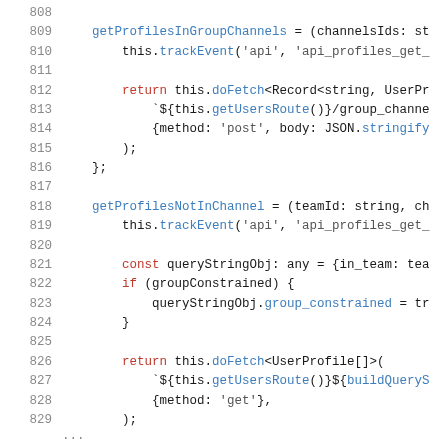Source code listing, lines 808-829, showing JavaScript/TypeScript methods getProfilesInGroupChannels and getProfilesNotInChannel